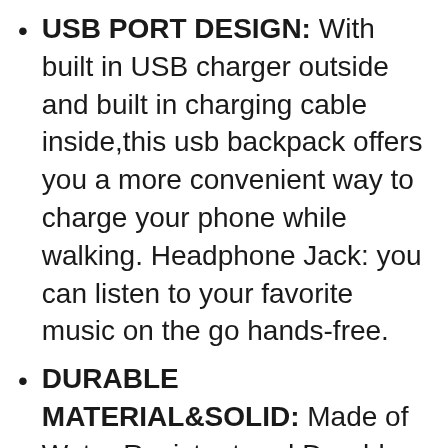USB PORT DESIGN: With built in USB charger outside and built in charging cable inside,this usb backpack offers you a more convenient way to charge your phone while walking. Headphone Jack: you can listen to your favorite music on the go hands-free.
DURABLE MATERIAL&SOLID: Made of Water Resistant and Durable Polyester Fabric with metal zippers.Ensure a secure & long-lasting usage everyday & weekend.Serve you well as professional office work bag,slim USB charging bagpack, perfects for business traveling, weekend getaways, shopping & outdoor activities in daily life. Good Gift for college high school big student for boys,girls,teens,adults